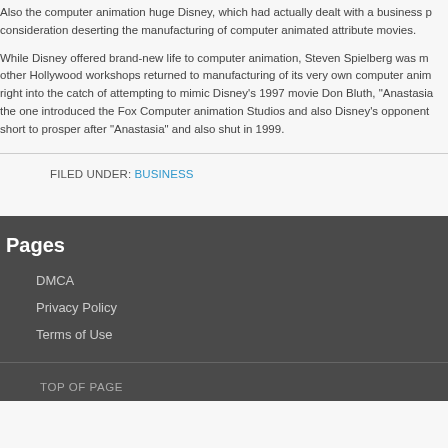Also the computer animation huge Disney, which had actually dealt with a business consideration deserting the manufacturing of computer animated attribute movies.
While Disney offered brand-new life to computer animation, Steven Spielberg was m other Hollywood workshops returned to manufacturing of its very own computer anim right into the catch of attempting to mimic Disney's 1997 movie Don Bluth, "Anastasia the one introduced the Fox Computer animation Studios and also Disney's opponent short to prosper after "Anastasia" and also shut in 1999.
FILED UNDER: BUSINESS
Pages
DMCA
Privacy Policy
Terms of Use
TOP OF PAGE